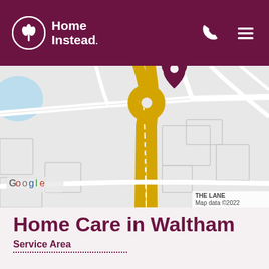Home Instead
[Figure (map): Google Maps screenshot showing a road map with a yellow highway/road on the left side, a dark maroon location pin marker at top center, road intersections, and block outlines of buildings. Bottom-left shows Google watermark. Bottom-right shows 'THE LANE Map data ©2022'.]
Home Care in Waltham
Service Area